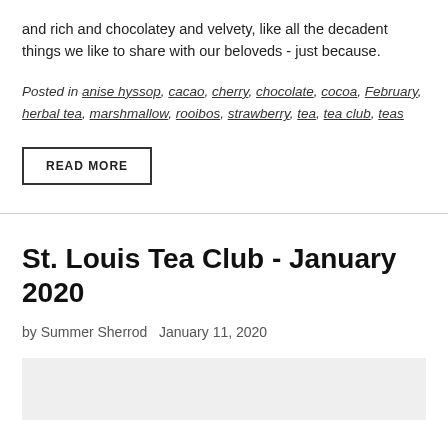and rich and chocolatey and velvety, like all the decadent things we like to share with our beloveds - just because.
Posted in anise hyssop, cacao, cherry, chocolate, cocoa, February, herbal tea, marshmallow, rooibos, strawberry, tea, tea club, teas
READ MORE
St. Louis Tea Club - January 2020
by Summer Sherrod   January 11, 2020
[Figure (photo): Light gray placeholder image area at bottom of page]